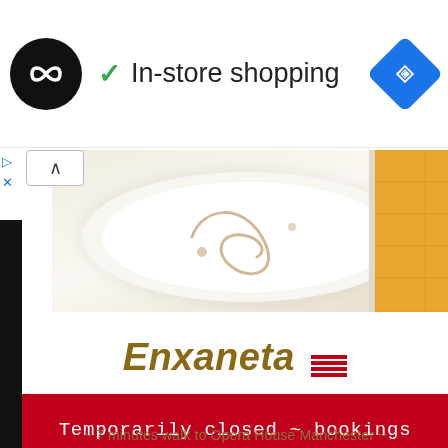[Figure (logo): Black circle logo with double infinity/loop symbol in white]
✓ In-store shopping
[Figure (illustration): Blue diamond navigation arrow icon]
[Figure (photo): Food photo strip: white plate with cream sauce swirl on left, chef in yellow-tiled kitchen on right]
Enxaneta
[Figure (illustration): Catalan flag stripes icon (four red stripes)]
Temporarily closed ~ bookings for Tas available
~ 7 minutes walk to Opera House Manchester ~